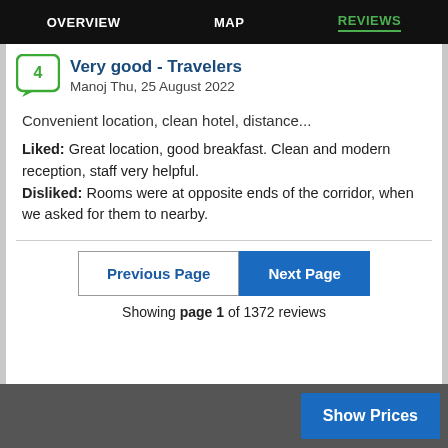OVERVIEW   MAP   REVIEWS
Very good - Travelers
Manoj Thu, 25 August 2022
Convenient location, clean hotel, distance...
Liked: Great location, good breakfast. Clean and modern reception, staff very helpful. Disliked: Rooms were at opposite ends of the corridor, when we asked for them to nearby.
Previous Page
Next Page
Showing page 1 of 1372 reviews
Show Prices